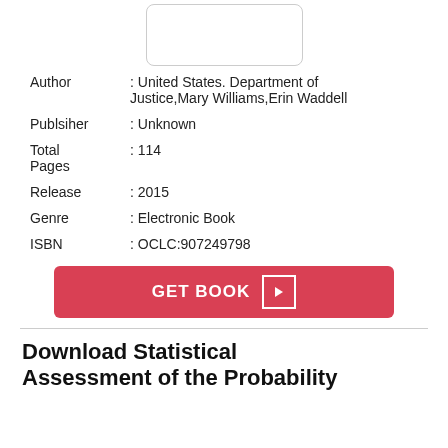[Figure (other): Book cover image placeholder box]
Author : United States. Department of Justice,Mary Williams,Erin Waddell
Publsiher : Unknown
Total Pages : 114
Release : 2015
Genre : Electronic Book
ISBN : OCLC:907249798
GET BOOK
Download Statistical Assessment of the Probability